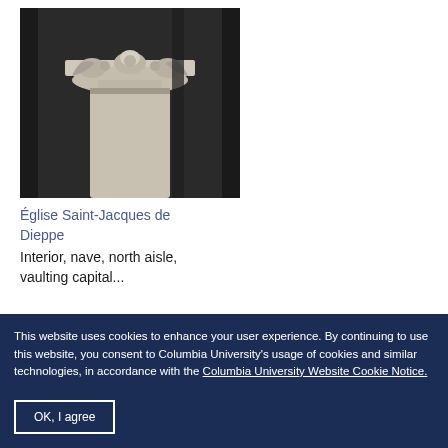[Figure (photo): Photograph of a stone vaulting capital from the interior nave north aisle of Église Saint-Jacques de Dieppe. Shows ornate carved stone column capital with foliage detail against dark background.]
Église Saint-Jacques de Dieppe
Interior, nave, north aisle, vaulting capital...
This website uses cookies to enhance your user experience. By continuing to use this website, you consent to Columbia University's usage of cookies and similar technologies, in accordance with the Columbia University Website Cookie Notice.
OK, I agree